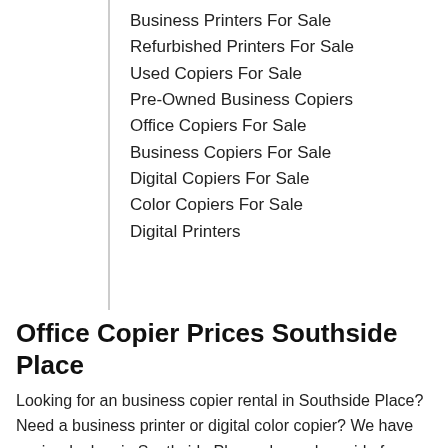Business Printers For Sale
Refurbished Printers For Sale
Used Copiers For Sale
Pre-Owned Business Copiers
Office Copiers For Sale
Business Copiers For Sale
Digital Copiers For Sale
Color Copiers For Sale
Digital Printers
Office Copier Prices Southside Place
Looking for an business copier rental in Southside Place? Need a business printer or digital color copier? We have copier dealers in Southside Place who and provide free prices and information for these copier services: